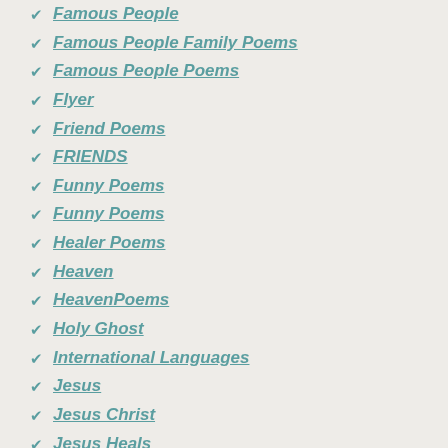Famous People
Famous People Family Poems
Famous People Poems
Flyer
Friend Poems
FRIENDS
Funny Poems
Funny Poems
Healer Poems
Heaven
HeavenPoems
Holy Ghost
International Languages
Jesus
Jesus Christ
Jesus Heals
Jesus Poems
Jesus Rules
Lake Worth Street Painting Festival
LORD'S POEMS
Love Poems
Nanny Days